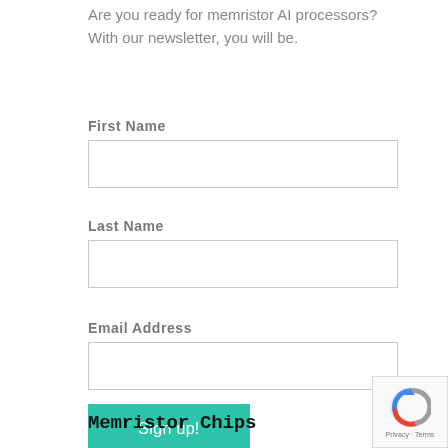Are you ready for memristor AI processors? With our newsletter, you will be.
First Name
Last Name
Email Address
Sign up!
Memristor Chips
[Figure (logo): reCAPTCHA badge with spinning arrow logo and 'Privacy - Terms' text]